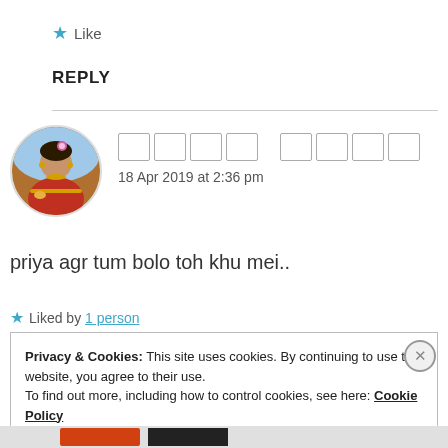★ Like
REPLY
[Figure (photo): Round avatar of a woman in traditional Indian dress with floral headpiece and jewelry]
[username boxes] 18 Apr 2019 at 2:36 pm
priya agr tum bolo toh khu mei..
★ Liked by 1 person
Privacy & Cookies: This site uses cookies. By continuing to use this website, you agree to their use. To find out more, including how to control cookies, see here: Cookie Policy
Close and accept